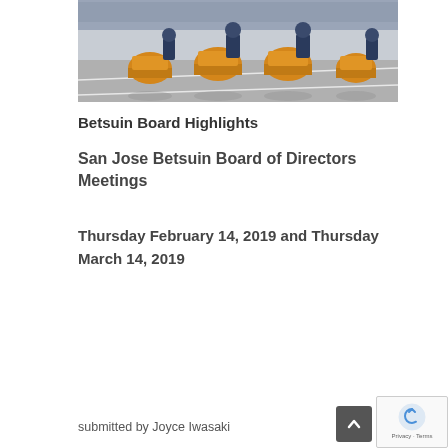[Figure (photo): Taiko drummers performing in a street parade with orange barrel drums, audience visible in background]
Betsuin Board Highlights
San Jose Betsuin Board of Directors Meetings
Thursday February 14, 2019 and Thursday March 14, 2019
submitted by Joyce Iwasaki